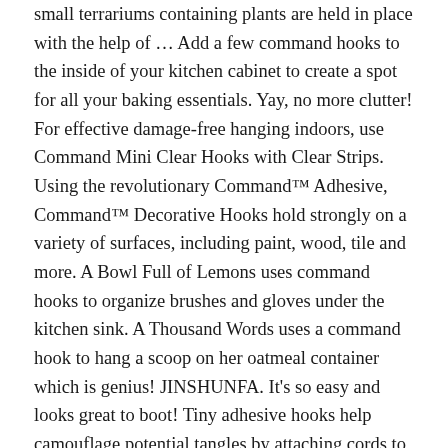small terrariums containing plants are held in place with the help of … Add a few command hooks to the inside of your kitchen cabinet to create a spot for all your baking essentials. Yay, no more clutter! For effective damage-free hanging indoors, use Command Mini Clear Hooks with Clear Strips. Using the revolutionary Command™ Adhesive, Command™ Decorative Hooks hold strongly on a variety of surfaces, including paint, wood, tile and more. A Bowl Full of Lemons uses command hooks to organize brushes and gloves under the kitchen sink. A Thousand Words uses a command hook to hang a scoop on her oatmeal container which is genius! JINSHUNFA. It's so easy and looks great to boot! Tiny adhesive hooks help camouflage potential tangles by attaching cords to … Command hooks, clips and strips are risk-free and secure, peeling off safely so you can add your own touches without the worry of damaging your walls. In Stock at Store Today. 3M Command Decorating Hooks Clips with Adhesive Strips 17026CLR / 17026. These command hook